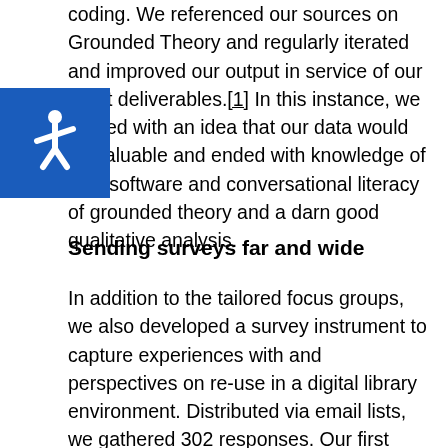coding. We referenced our sources on Grounded Theory and regularly iterated and improved our output in service of our grant deliverables.[1] In this instance, we started with an idea that our data would be valuable and ended with knowledge of new software and conversational literacy of grounded theory and a darn good qualitative analysis.
[Figure (logo): Accessibility icon: white wheelchair symbol on blue square background]
Sending surveys far and wide
In addition to the tailored focus groups, we also developed a survey instrument to capture experiences with and perspectives on re-use in a digital library environment. Distributed via email lists, we gathered 302 responses. Our first thought was, How great, this small group of people churned out so much interest in this topic! Our second thought was, Yikes, how do we make sense of it all? Again, we iterated: we gathered the data